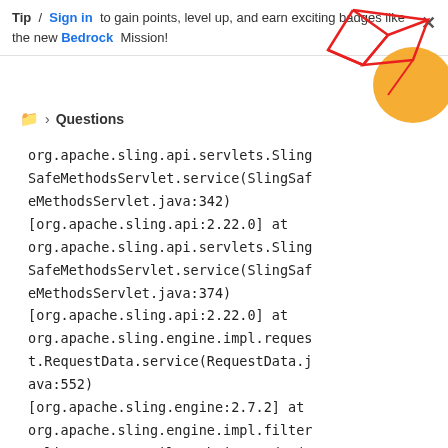Tip / Sign in to gain points, level up, and earn exciting badges like the new Bedrock Mission!
[Figure (illustration): Decorative geometric graphic in top-right corner with red triangular lines and an orange circle shape]
Questions
org.apache.sling.api.servlets.SlingSafeMethodsServlet.service(SlingSafeMethodsServlet.java:342)
[org.apache.sling.api:2.22.0] at org.apache.sling.api.servlets.SlingSafeMethodsServlet.service(SlingSafeMethodsServlet.java:374)
[org.apache.sling.api:2.22.0] at org.apache.sling.engine.impl.request.RequestData.service(RequestData.java:552)
[org.apache.sling.engine:2.7.2] at org.apache.sling.engine.impl.filter.SlingComponentFilterChain.render(SlingComponentFilterChain.java:44)
[org.apache.sling.engine:2.7.2] at